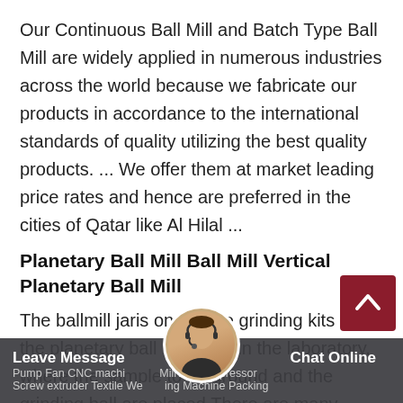Our Continuous Ball Mill and Batch Type Ball Mill are widely applied in numerous industries across the world because we fabricate our products in accordance to the international standards of quality utilizing the best quality products. ... We offer them at market leading price rates and hence are preferred in the cities of Qatar like Al Hilal ...
Planetary Ball Mill Ball Mill Vertical Planetary Ball Mill
The ballmill jaris one of the grinding kits of the planetary ball mill used in the laboratory, where the sample to be ground and the grinding ball are placed.There are many types of ball mill jars. According to the grinding mode, they can be...
Shenzhen Torrive Technology Limited
Pump Fan CNC machine Mill Air Compressor Screw extruder Textile Washing Machine Packing | Leave Message | Chat Online